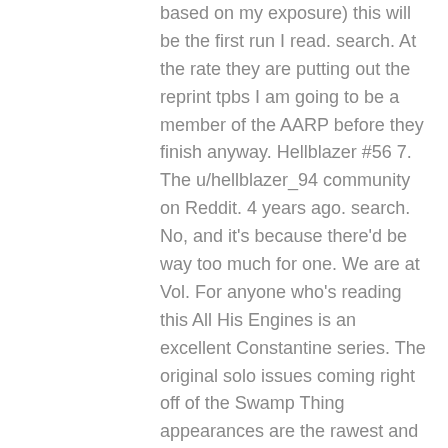based on my exposure) this will be the first run I read. search. At the rate they are putting out the reprint tpbs I am going to be a member of the AARP before they finish anyway. Hellblazer #56 7. The u/hellblazer_94 community on Reddit. 4 years ago. search. No, and it's because there'd be way too much for one. We are at Vol. For anyone who's reading this All His Engines is an excellent Constantine series. The original solo issues coming right off of the Swamp Thing appearances are the rawest and spookiest. Hellblazer #60 11. 100% Upvoted. £20.00. Hellblazer fans: Are any volumes particularly good introductions for new readers? Hellblazer #65 16. Mike Carey's Black Flowers and Staring at the Wall 6. 100% Upvoted. Discuss anything from new releases, best buys or your favorite runs of all time! More items to explore. I recently started really getting into comics & I've wanted to read Hellblazer ever since seeing the Constantine film. Its central character is